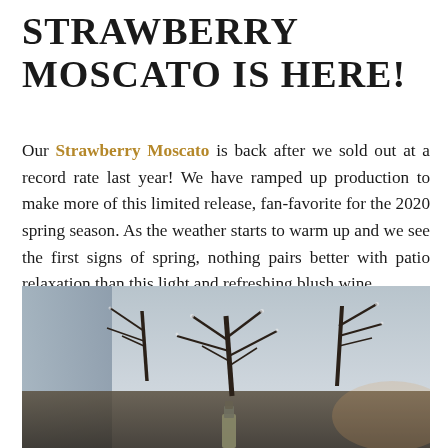STRAWBERRY MOSCATO IS HERE!
Our Strawberry Moscato is back after we sold out at a record rate last year! We have ramped up production to make more of this limited release, fan-favorite for the 2020 spring season. As the weather starts to warm up and we see the first signs of spring, nothing pairs better with patio relaxation than this light and refreshing blush wine.
[Figure (photo): Outdoor scene with bare winter trees with frost/ice, soft sky background, and a wine bottle visible at the bottom center. A blue/grey panel is visible on the left side.]